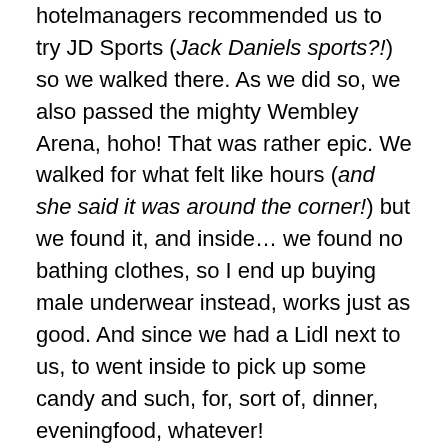hotelmanagers recommended us to try JD Sports (Jack Daniels sports?!) so we walked there. As we did so, we also passed the mighty Wembley Arena, hoho! That was rather epic. We walked for what felt like hours (and she said it was around the corner!) but we found it, and inside… we found no bathing clothes, so I end up buying male underwear instead, works just as good. And since we had a Lidl next to us, to went inside to pick up some candy and such, for, sort of, dinner, eveningfood, whatever!
Then we got back, and we got into the spa… and must have been the suckiest spa ever. We were hitting the jacuzzi, right, so we thought it was really a hottub, but it turns out it wasn't! It was like, a small offspring to the bigger pool, and it wasn't even hot! I think we stayed there for 15 minutes or something before we decided to go back to our hotelroom to make our own spa in the bathtub, and